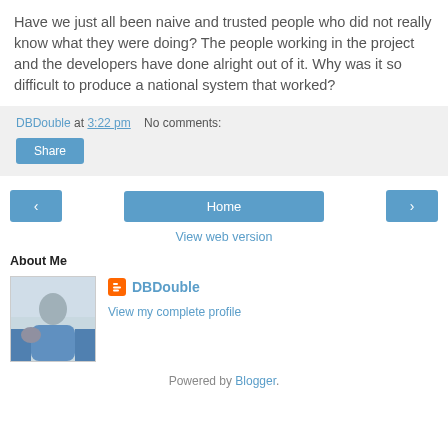Have we just all been naive and trusted people who did not really know what they were doing? The people working in the project and the developers have done alright out of it. Why was it so difficult to produce a national system that worked?
DBDouble at 3:22 pm   No comments:
Share
‹  Home  ›
View web version
About Me
[Figure (photo): Profile photo of a person in a blue sweater outdoors near water]
DBDouble
View my complete profile
Powered by Blogger.